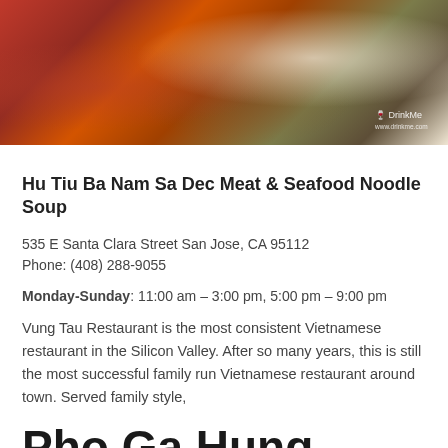[Figure (photo): Food photo showing a bowl of meat and seafood noodle soup with shrimp and ground meat visible, with a DrinkMe watermark in the bottom right corner]
Hu Tiu Ba Nam Sa Dec Meat & Seafood Noodle Soup
535 E Santa Clara Street San Jose, CA 95112
Phone: (408) 288-9055
Monday-Sunday: 11:00 am – 3:00 pm, 5:00 pm – 9:00 pm
Vung Tau Restaurant is the most consistent Vietnamese restaurant in the Silicon Valley. After so many years, this is still the most successful family run Vietnamese restaurant around town. Served family style,
Pho Ga Hung
[Figure (photo): Partial food photo showing a bowl of Vietnamese soup/noodle dish, cropped at bottom of page]